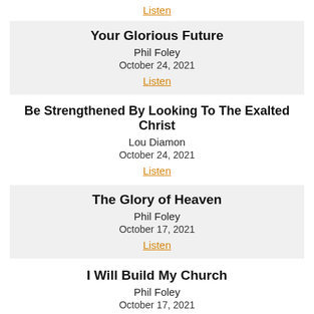Listen
Your Glorious Future
Phil Foley
October 24, 2021
Listen
Be Strengthened By Looking To The Exalted Christ
Lou Diamon
October 24, 2021
Listen
The Glory of Heaven
Phil Foley
October 17, 2021
Listen
I Will Build My Church
Phil Foley
October 17, 2021
Listen